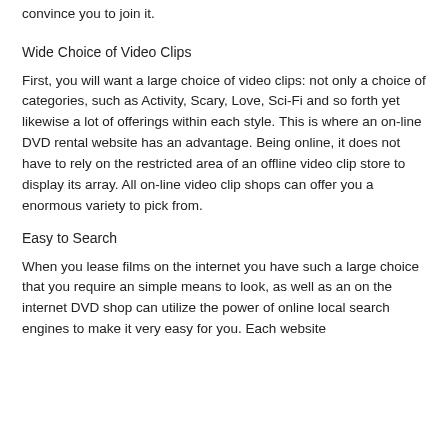convince you to join it.
Wide Choice of Video Clips
First, you will want a large choice of video clips: not only a choice of categories, such as Activity, Scary, Love, Sci-Fi and so forth yet likewise a lot of offerings within each style. This is where an on-line DVD rental website has an advantage. Being online, it does not have to rely on the restricted area of an offline video clip store to display its array. All on-line video clip shops can offer you a enormous variety to pick from.
Easy to Search
When you lease films on the internet you have such a large choice that you require an simple means to look, as well as an on the internet DVD shop can utilize the power of online local search engines to make it very easy for you. Each website